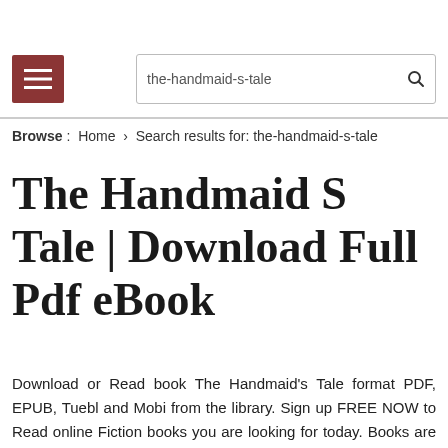Browse : Home > Search results for: the-handmaid-s-tale
The Handmaid S Tale | Download Full Pdf eBook
Download or Read book The Handmaid's Tale format PDF, EPUB, Tuebl and Mobi from the library. Sign up FREE NOW to Read online Fiction books you are looking for today. Books are available to download